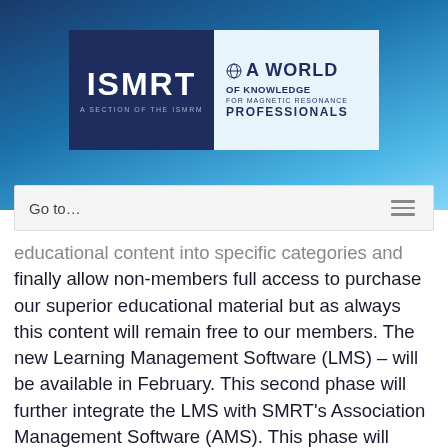[Figure (logo): ISMRT logo — 'ISMRT A Section of the ISMRM' on dark blue background, next to 'A World of Knowledge for Magnetic Resonance Professionals' on light blue background]
Go to...
educational content into specific categories and finally allow non-members full access to purchase our superior educational material but as always this content will remain free to our members. The new Learning Management Software (LMS) – will be available in February. This second phase will further integrate the LMS with SMRT's Association Management Software (AMS). This phase will include automated transfer of credits from the LMS into the SMRT AMS. It will revamp the current look of the LMS and the way it operates as it relates to online learning.